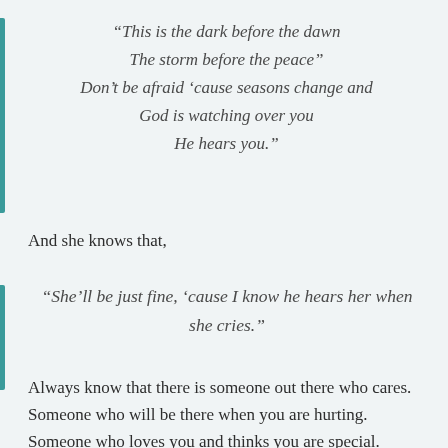“This is the dark before the dawn
The storm before the peace”
Don’t be afraid ‘cause seasons change and
God is watching over you
He hears you.”
And she knows that,
“She’ll be just fine, ‘cause I know he hears her when she cries.”
Always know that there is someone out there who cares. Someone who will be there when you are hurting. Someone who loves you and thinks you are special.